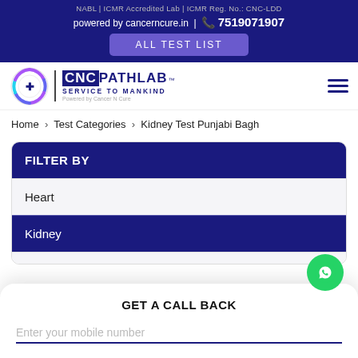NABL | ICMR Accredited Lab | ICMR Reg. No.: CNC-LDD
powered by cancerncure.in | 7519071907
ALL TEST LIST
[Figure (logo): CNC PathLab logo with circular emblem and text 'CNC PATHLAB SERVICE TO MANKIND Powered by Cancer N Cure']
Home > Test Categories > Kidney Test Punjabi Bagh
FILTER BY
Heart
Kidney
GET A CALL BACK
Enter your mobile number